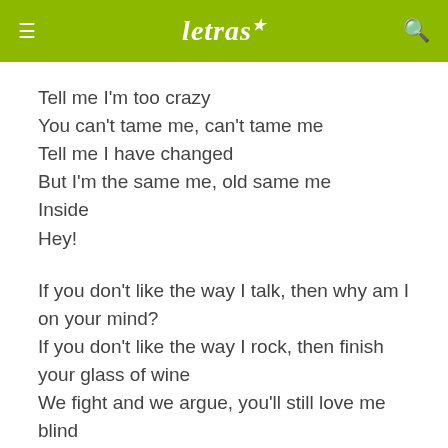letras
Tell me I'm too crazy
You can't tame me, can't tame me
Tell me I have changed
But I'm the same me, old same me
Inside
Hey!
If you don't like the way I talk, then why am I on your mind?
If you don't like the way I rock, then finish your glass of wine
We fight and we argue, you'll still love me blind
If we don't fuck this whole thing up